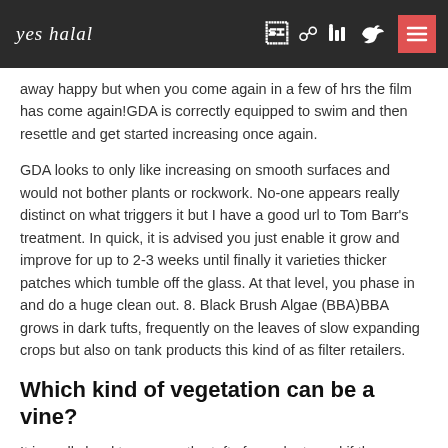yes halal
away happy but when you come again in a few of hrs the film has come again!GDA is correctly equipped to swim and then resettle and get started increasing once again.
GDA looks to only like increasing on smooth surfaces and would not bother plants or rockwork. No-one appears really distinct on what triggers it but I have a good url to Tom Barr's treatment. In quick, it is advised you just enable it grow and improve for up to 2-3 weeks until finally it varieties thicker patches which tumble off the glass. At that level, you phase in and do a huge clean out. 8. Black Brush Algae (BBA)BBA grows in dark tufts, frequently on the leaves of slow expanding crops but also on tank products this kind of as filter retailers.
Which kind of vegetation can be a vine?
It is really hard to remove the tufts from plants and if they are poorly affected you are superior or discarding them. Equipment can be dealt with with plantidentification.co bleach if they are really meticulously washed before returning to your tank. Some